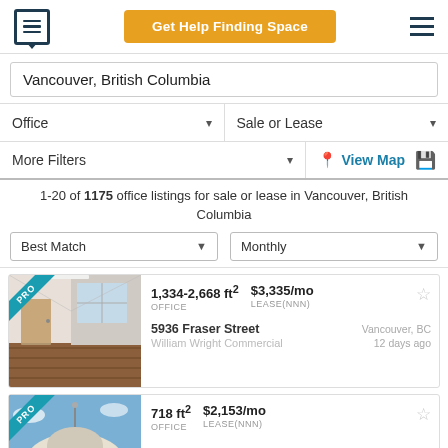[Figure (screenshot): Navigation header with document/chat icon logo, orange 'Get Help Finding Space' CTA button, and hamburger menu icon]
Vancouver, British Columbia
Office ▾   Sale or Lease ▾
More Filters ▾   📍 View Map   💾
1-20 of 1175 office listings for sale or lease in Vancouver, British Columbia
Best Match ▾   Monthly ▾
1,334-2,668 ft²   $3,335/mo   OFFICE   LEASE(NNN)   5936 Fraser Street   William Wright Commercial   Vancouver, BC   12 days ago
718 ft²   $2,153/mo   OFFICE   LEASE(NNN)